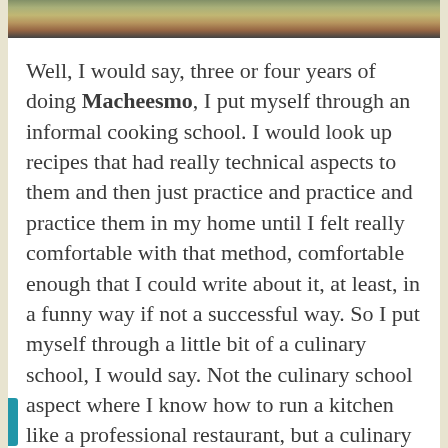[Figure (photo): Partial view of a food photo strip at the top of the page, showing colorful dish ingredients.]
Well, I would say, three or four years of doing Macheesmo, I put myself through an informal cooking school. I would look up recipes that had really technical aspects to them and then just practice and practice and practice them in my home until I felt really comfortable with that method, comfortable enough that I could write about it, at least, in a funny way if not a successful way. So I put myself through a little bit of a culinary school, I would say. Not the culinary school aspect where I know how to run a kitchen like a professional restaurant, but a culinary